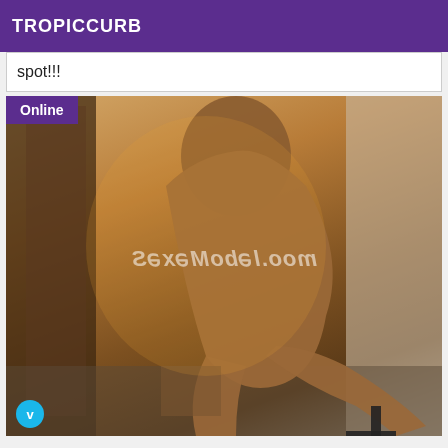TROPICCURB
spot!!!
[Figure (photo): Photo of a person posing in a room, with a watermark reading SexeModel.com mirrored, and an Online badge in the top-left corner.]